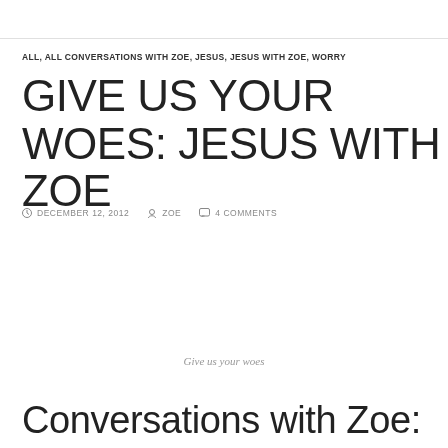ALL, ALL CONVERSATIONS WITH ZOE, JESUS, JESUS WITH ZOE, WORRY
GIVE US YOUR WOES: JESUS WITH ZOE
DECEMBER 12, 2012  ZOE  4 COMMENTS
Give us your woes